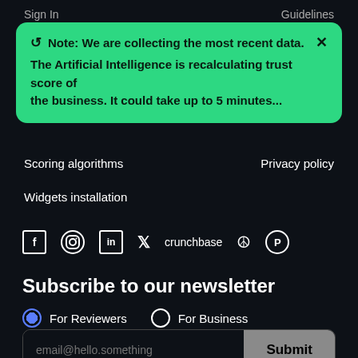Sign In    Guidelines
[Figure (screenshot): Green notification banner: '↺ Note: We are collecting the most recent data. ✕  The Artificial Intelligence is recalculating trust score of the business. It could take up to 5 minutes...']
Scoring algorithms
Privacy policy
Widgets installation
[Figure (other): Social media icons row: Facebook, Instagram, LinkedIn, Twitter, crunchbase, peace/victory sign, ProductHunt]
Subscribe to our newsletter
For Reviewers    For Business
[Figure (screenshot): Email subscription form with input field showing 'email@hello.something' placeholder and a Submit button]